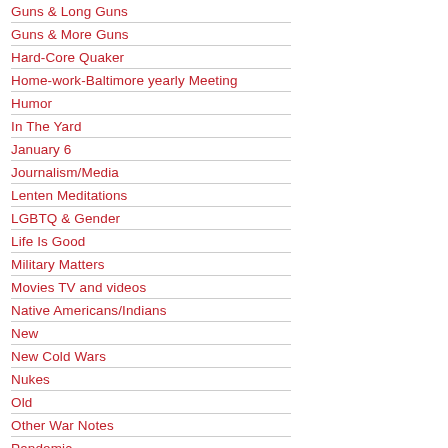Guns & Long Guns
Guns & More Guns
Hard-Core Quaker
Home-work-Baltimore yearly Meeting
Humor
In The Yard
January 6
Journalism/Media
Lenten Meditations
LGBTQ & Gender
Life Is Good
Military Matters
Movies TV and videos
Native Americans/Indians
New
New Cold Wars
Nukes
Old
Other War Notes
Pandemic
Passing the Torch(es)